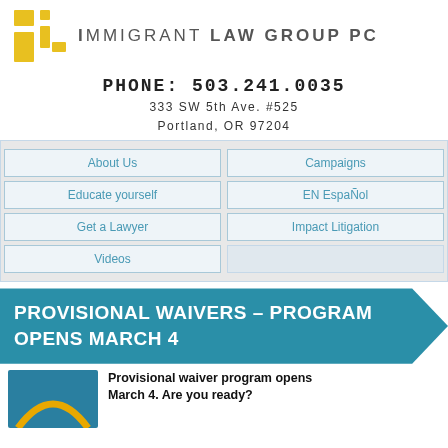[Figure (logo): Immigrant Law Group PC logo with yellow/gold geometric squares and exclamation mark icon, followed by the firm name in gray spaced uppercase letters]
PHONE: 503.241.0035
333 SW 5th Ave. #525
Portland, OR 97204
| About Us | Campaigns |
| Educate yourself | EN EspaÑol |
| Get a Lawyer | Impact Litigation |
| Videos |  |
PROVISIONAL WAIVERS – PROGRAM OPENS MARCH 4
Provisional waiver program opens March 4.  Are you ready?